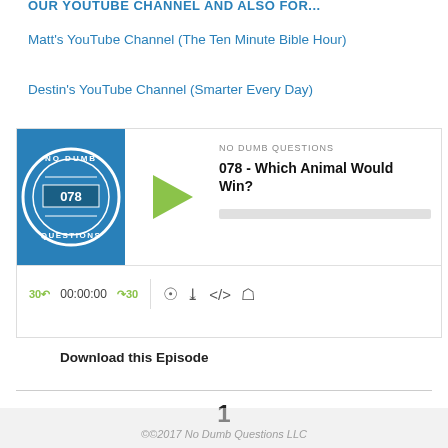Matt's YouTube Channel (The Ten Minute Bible Hour)
Destin's YouTube Channel (Smarter Every Day)
[Figure (screenshot): Podcast player widget for 'No Dumb Questions' episode 078 - Which Animal Would Win? Shows episode artwork with badge, play button, progress bar, and player controls with time display 00:00:00.]
Download this Episode
1
©©2017 No Dumb Questions LLC